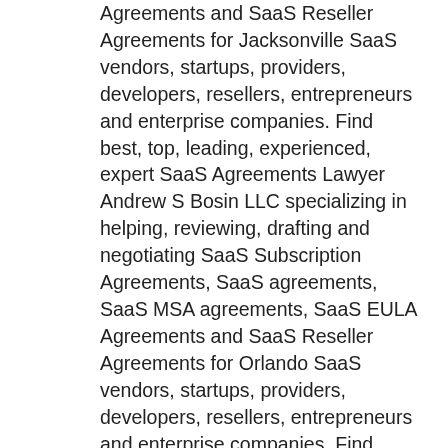Agreements and SaaS Reseller Agreements for Jacksonville SaaS vendors, startups, providers, developers, resellers, entrepreneurs and enterprise companies. Find best, top, leading, experienced, expert SaaS Agreements Lawyer Andrew S Bosin LLC specializing in helping, reviewing, drafting and negotiating SaaS Subscription Agreements, SaaS agreements, SaaS MSA agreements, SaaS EULA Agreements and SaaS Reseller Agreements for Orlando SaaS vendors, startups, providers, developers, resellers, entrepreneurs and enterprise companies. Find best, top, leading, experienced, expert SaaS Agreements Lawyer Andrew S Bosin LLC specializing in helping, reviewing, drafting and negotiating SaaS Subscription Agreements, SaaS agreements, SaaS MSA agreements, SaaS EULA Agreements and SaaS Reseller Agreements for Tampa SaaS vendors, startups, providers, developers, resellers, entrepreneurs and enterprise companies. Find best, top, leading, experienced, expert SaaS Agreements Lawyer Andrew S Bosin LLC specializing in